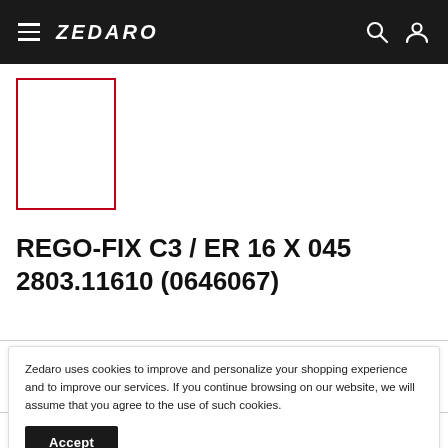ZEDARO
[Figure (other): Product image placeholder with red border outline]
REGO-FIX C3 / ER 16 X 045 2803.11610 (0646067)
Zedaro uses cookies to improve and personalize your shopping experience and to improve our services. If you continue browsing on our website, we will assume that you agree to the use of such cookies.
Accept
Quantity: 1